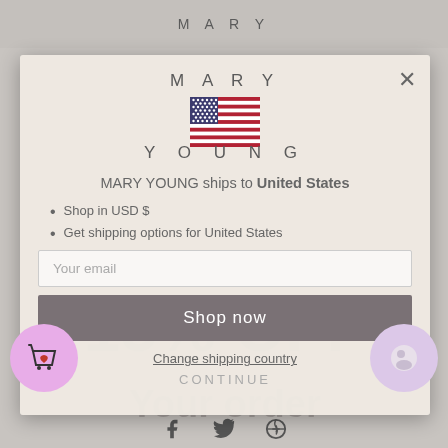[Figure (screenshot): Mary Young e-commerce website with overlapping modal dialogs: shipping country selector and discount popup]
MARY YOUNG
MARY YOUNG
[Figure (illustration): US flag emoji]
MARY YOUNG ships to United States
Shop in USD $
Get shipping options for United States
15% OFF
Your order
Your email
Shop now
Change shipping country
CONTINUE